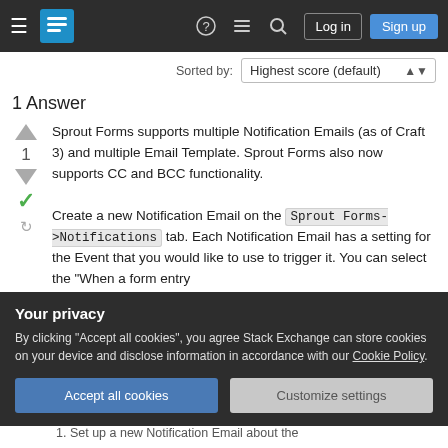Stack Exchange navigation bar with hamburger menu, logo, help, chat, search icons, Log in and Sign up buttons
Sorted by:
Highest score (default)
1 Answer
Sprout Forms supports multiple Notification Emails (as of Craft 3) and multiple Email Template. Sprout Forms also now supports CC and BCC functionality.
Create a new Notification Email on the Sprout Forms->Notifications tab. Each Notification Email has a setting for the Event that you would like to use to trigger it. You can select the "When a form entry
Your privacy
By clicking "Accept all cookies", you agree Stack Exchange can store cookies on your device and disclose information in accordance with our Cookie Policy.
Accept all cookies
Customize settings
1. Set up a new Notification Email about the